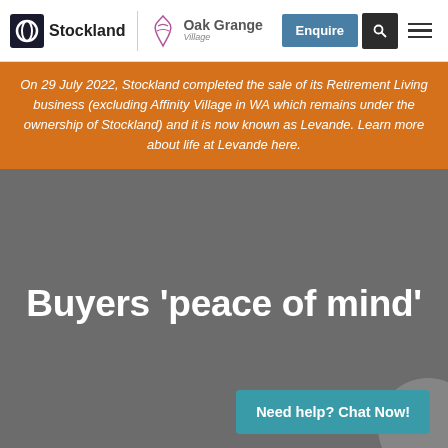Stockland | Oak Grange Village | Enquire | Search | Menu
On 29 July 2022, Stockland completed the sale of its Retirement Living business (excluding Affinity Village in WA which remains under the ownership of Stockland) and it is now known as Levande. Learn more about life at Levande here.
Buyers 'peace of mind'
Need help? Chat Now!